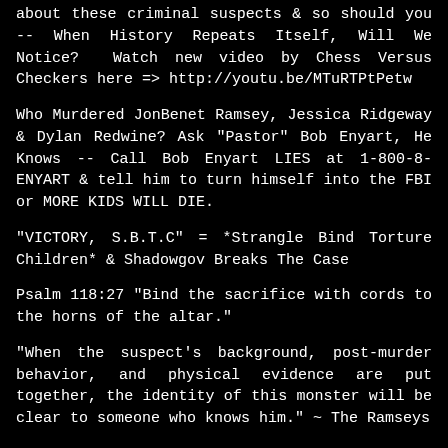about these criminal suspects & so should you -- When History Repeats Itself, Will We Notice?  Watch new video by Chess Versus Checkers here => http://youtu.be/MTuRTPtPetw
Who Murdered JonBenet Ramsey, Jessica Ridgeway & Dylan Redwine? Ask "Pastor" Bob Enyart, He Knows -- Call Bob Enyart LIES at 1-800-8-ENYART & tell him to turn himself into the FBI or MORE KIDS WILL DIE.
"VICTORY, S.B.T.C" = *Strangle Bind Torture Children* & Shadowgov Breaks The Case
Psalm 118:27 "Bind the sacrifice with cords to the horns of the altar."
"When the suspect's background, post-murder behavior, and physical evidence are put together, the identity of this monster will be clear to someone who knows him." ~ The Ramseys